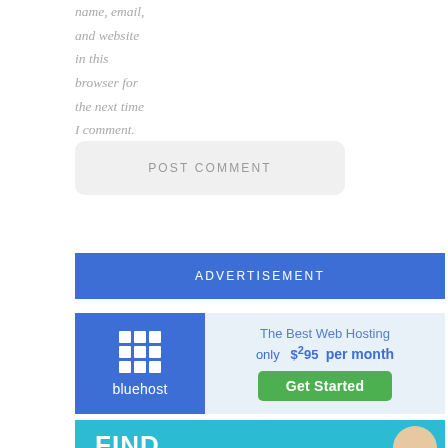name, email, and website in this browser for the next time I comment.
[Figure (screenshot): POST COMMENT button - light gray rounded rectangle with uppercase gray text]
[Figure (screenshot): ADVERTISEMENT blue banner header]
[Figure (screenshot): Bluehost advertisement banner: blue box with grid logo and bluehost text on left; light blue area on right with 'The Best Web Hosting only $2.95 per month' and green Get Started button]
[Figure (screenshot): Teal/cyan banner with bold white text 'FIND' and a person's face on the right]